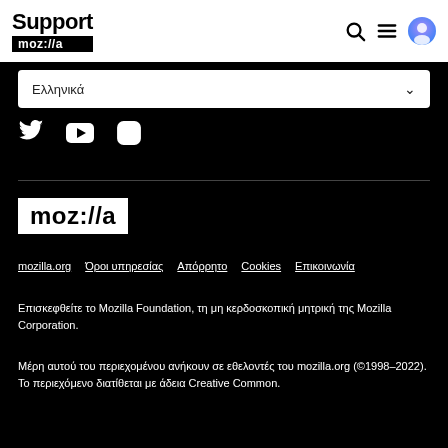Support moz://a
Ελληνικά
[Figure (logo): Twitter, YouTube, and Instagram social media icons in white on black background]
[Figure (logo): Mozilla logo: white text moz://a on white background block]
mozilla.org   Όροι υπηρεσίας   Απόρρητο   Cookies   Επικοινωνία
Επισκεφθείτε το Mozilla Foundation, τη μη κερδοσκοπική μητρική της Mozilla Corporation.
Μέρη αυτού του περιεχομένου ανήκουν σε εθελοντές του mozilla.org (©1998–2022). Το περιεχόμενο διατίθεται με άδεια Creative Common.